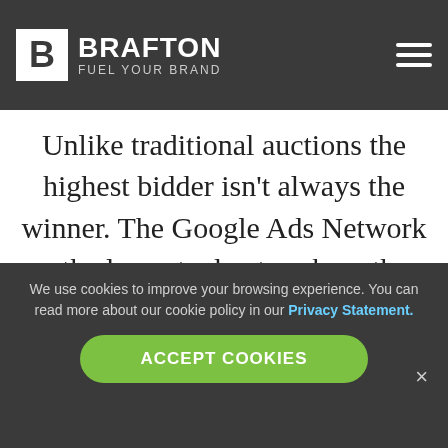embedded on a web
[Figure (logo): Brafton logo with white B in box and text BRAFTON FUEL YOUR BRAND on dark background, with hamburger menu icon]
Unlike traditional auctions the highest bidder isn't always the winner. The Google Ads Network – the largest ad network on the web – factors Quality Score into its rankings. Google determines this Quality Score based on expected click-through
We use cookies to improve your browsing experience. You can read more about our cookie policy in our Privacy Statement.
ACCEPT COOKIES